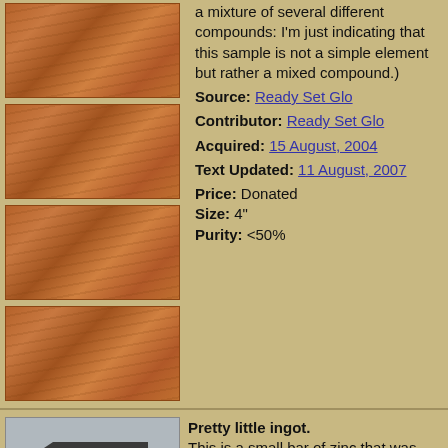a mixture of several different compounds: I'm just indicating that this sample is not a simple element but rather a mixed compound.)
Source: Ready Set Glo
Contributor: Ready Set Glo
Acquired: 15 August, 2004
Text Updated: 11 August, 2007
Price: Donated
Size: 4"
Purity: <50%
Pretty little ingot. This is a small bar of zinc that was clearly meant to be some kind of commemorative or advertising item, presumably for the Bunker Hill